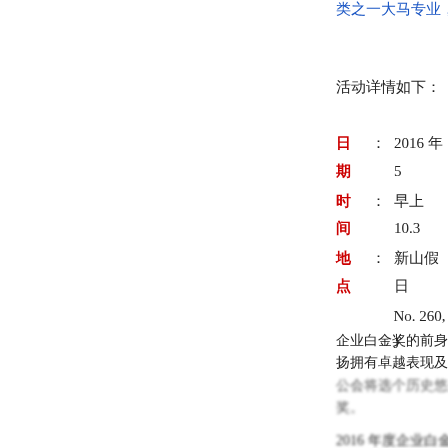类之一大马专业，碰
活动详情如下：
日期 ： 2016 年 5
时间 ： 早上 10.3
地点 ： 新山假日
       No. 260, J
企业白金奖的前身为 扬拥有卓越表现及为 公会将选个历史悠久 奖。
2016 年度企业白金 颁奖典礼暨国际卡哇 年（企业商誉特性的
详细更多情况将于